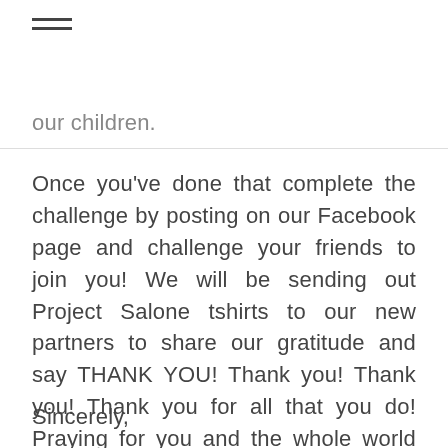≡
our children.
Once you've done that complete the challenge by posting on our Facebook page and challenge your friends to join you! We will be sending out Project Salone tshirts to our new partners to share our gratitude and say THANK YOU! Thank you! Thank you! Thank you for all that you do! Praying for you and the whole world as we navigate the now together. You are so loved. Be light. Spread light.
Sincerely,